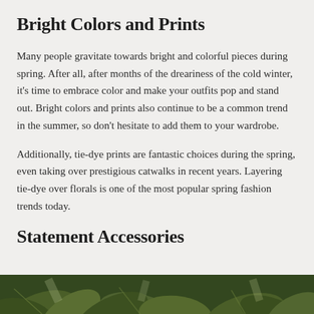Bright Colors and Prints
Many people gravitate towards bright and colorful pieces during spring. After all, after months of the dreariness of the cold winter, it's time to embrace color and make your outfits pop and stand out. Bright colors and prints also continue to be a common trend in the summer, so don't hesitate to add them to your wardrobe.
Additionally, tie-dye prints are fantastic choices during the spring, even taking over prestigious catwalks in recent years. Layering tie-dye over florals is one of the most popular spring fashion trends today.
Statement Accessories
[Figure (photo): Partial view of green tropical leaves/plants photo at the bottom of the page]